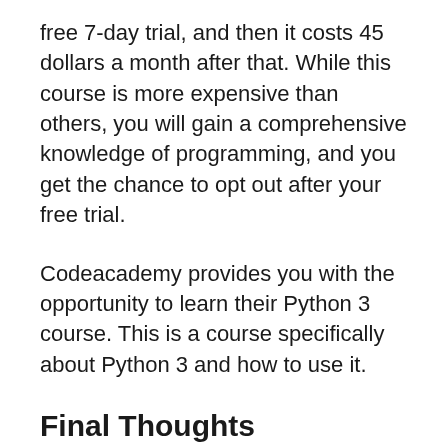free 7-day trial, and then it costs 45 dollars a month after that. While this course is more expensive than others, you will gain a comprehensive knowledge of programming, and you get the chance to opt out after your free trial.
Codeacademy provides you with the opportunity to learn their Python 3 course. This is a course specifically about Python 3 and how to use it.
Final Thoughts
Learning programming with Python can be a daunting and often confusing task. This is especially true when you are just getting started. This is why I have outlined some